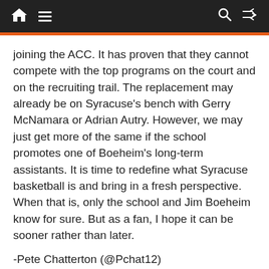Navigation bar with home, menu, search, and shuffle icons
joining the ACC. It has proven that they cannot compete with the top programs on the court and on the recruiting trail. The replacement may already be on Syracuse’s bench with Gerry McNamara or Adrian Autry. However, we may just get more of the same if the school promotes one of Boeheim’s long-term assistants. It is time to redefine what Syracuse basketball is and bring in a fresh perspective. When that is, only the school and Jim Boeheim know for sure. But as a fan, I hope it can be sooner rather than later.
-Pete Chatterton (@Pchat12)
Featured image courtesy of the Daily Orange.
Feeling tired, unable to focus and low on energy?